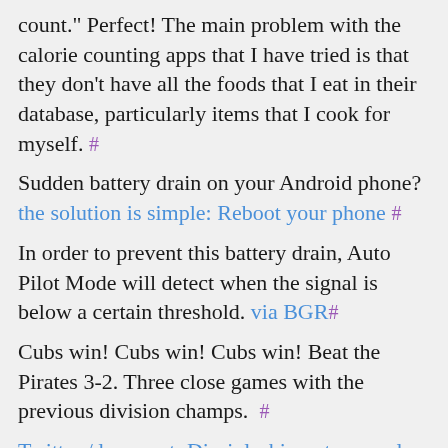count." Perfect! The main problem with the calorie counting apps that I have tried is that they don't have all the foods that I eat in their database, particularly items that I cook for myself. #
Sudden battery drain on your Android phone? the solution is simple: Reboot your phone #
In order to prevent this battery drain, Auto Pilot Mode will detect when the signal is below a certain threshold. via BGR #
Cubs win! Cubs win! Cubs win! Beat the Pirates 3-2. Three close games with the previous division champs. #
Twitter / lensweet: Discipleship not a moral code. ... #